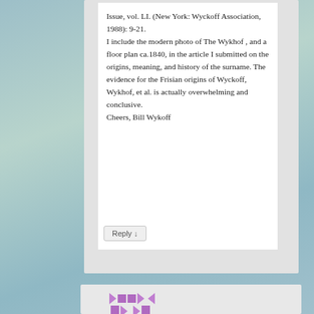Issue, vol. LI. (New York: Wyckoff Association, 1988): 9-21. I include the modern photo of The Wykhof , and a floor plan ca.1840, in the article I submitted on the origins, meaning, and history of the surname. The evidence for the Frisian origins of Wyckoff, Wykhof, et al. is actually overwhelming and conclusive.
Cheers, Bill Wykoff
[Figure (illustration): Purple and white geometric/mosaic avatar icon for a commenter]